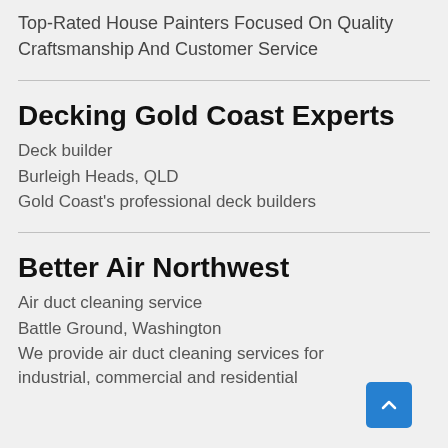Top-Rated House Painters Focused On Quality Craftsmanship And Customer Service
Decking Gold Coast Experts
Deck builder
Burleigh Heads, QLD
Gold Coast's professional deck builders
Better Air Northwest
Air duct cleaning service
Battle Ground, Washington
We provide air duct cleaning services for industrial, commercial and residential